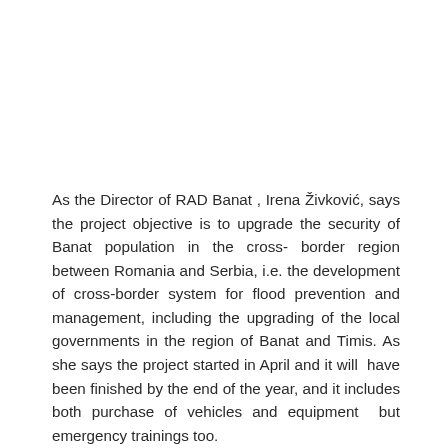As the Director of RAD Banat , Irena Živković, says the project objective is to upgrade the security of Banat population in the cross- border region between Romania and Serbia, i.e. the development of cross-border system for flood prevention and management, including the upgrading of the local governments in the region of Banat and Timis. As she says the project started in April and it will have been finished by the end of the year, and it includes both purchase of vehicles and equipment but emergency trainings too.